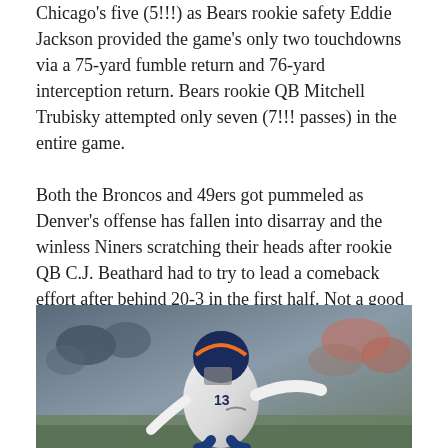Chicago's five (5!!!) as Bears rookie safety Eddie Jackson provided the game's only two touchdowns via a 75-yard fumble return and 76-yard interception return. Bears rookie QB Mitchell Trubisky attempted only seven (7!!! passes) in the entire game.
Both the Broncos and 49ers got pummeled as Denver's offense has fallen into disarray and the winless Niners scratching their heads after rookie QB C.J. Beathard had to try to lead a comeback effort after behind 20-3 in the first half. Not a good spot for a rookie.
[Figure (photo): A Denver Broncos player wearing jersey number 13, in a white uniform with navy and orange helmet, bent forward in motion on the field with crowd visible in background.]